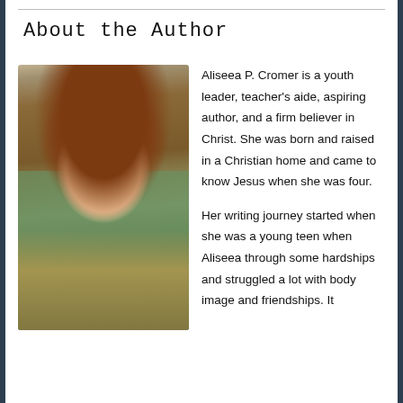About the Author
[Figure (photo): Portrait photo of Aliseea P. Cromer, a young woman with long auburn/red wavy hair, wearing a mustard yellow cardigan and white top, photographed outdoors with green trees in background.]
Aliseea P. Cromer is a youth leader, teacher’s aide, aspiring author, and a firm believer in Christ. She was born and raised in a Christian home and came to know Jesus when she was four.

Her writing journey started when she was a young teen when Aliseea through some hardships and struggled a lot with body image and friendships. It